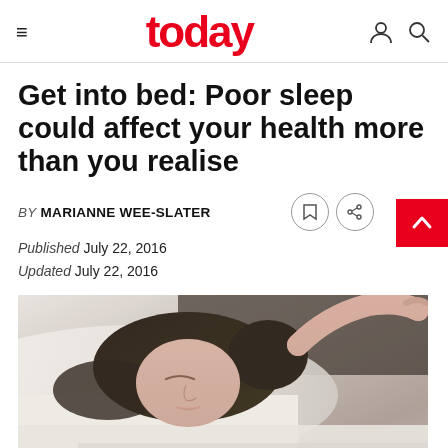today
Get into bed: Poor sleep could affect your health more than you realise
BY MARIANNE WEE-SLATER
Published July 22, 2016
Updated July 22, 2016
[Figure (photo): A person lying in bed, eyes closed, with dark hair spread on white pillow, reaching upward with one hand]